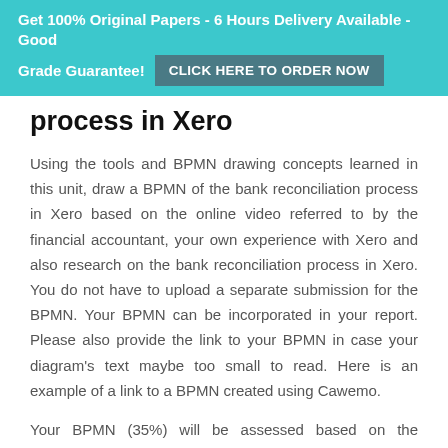Get 100% Original Papers - 6 Hours Delivery Available - Good Grade Guarantee! CLICK HERE TO ORDER NOW
process in Xero
Using the tools and BPMN drawing concepts learned in this unit, draw a BPMN of the bank reconciliation process in Xero based on the online video referred to by the financial accountant, your own experience with Xero and also research on the bank reconciliation process in Xero. You do not have to upload a separate submission for the BPMN. Your BPMN can be incorporated in your report. Please also provide the link to your BPMN in case your diagram's text maybe too small to read. Here is an example of a link to a BPMN created using Cawemo.
Your BPMN (35%) will be assessed based on the following: